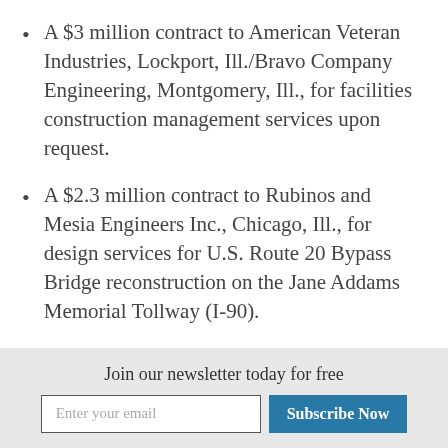A $3 million contract to American Veteran Industries, Lockport, Ill./Bravo Company Engineering, Montgomery, Ill., for facilities construction management services upon request.
A $2.3 million contract to Rubinos and Mesia Engineers Inc., Chicago, Ill., for design services for U.S. Route 20 Bypass Bridge reconstruction on the Jane Addams Memorial Tollway (I-90).
The contracts approved include three prime consultants, 19 subconsultants and 38 subcontractors that are certified as disadvantaged, minority, and